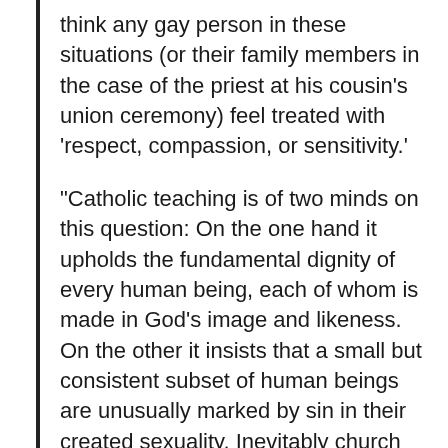think any gay person in these situations (or their family members in the case of the priest at his cousin’s union ceremony) feel treated with ‘respect, compassion, or sensitivity.’
“Catholic teaching is of two minds on this question: On the one hand it upholds the fundamental dignity of every human being, each of whom is made in God’s image and likeness. On the other it insists that a small but consistent subset of human beings are unusually marked by sin in their created sexuality. Inevitably church institutions–Franciscan University, the Diocese of Worcester–get tangled up in in the conflict by clumsy people who try to say both things at the same